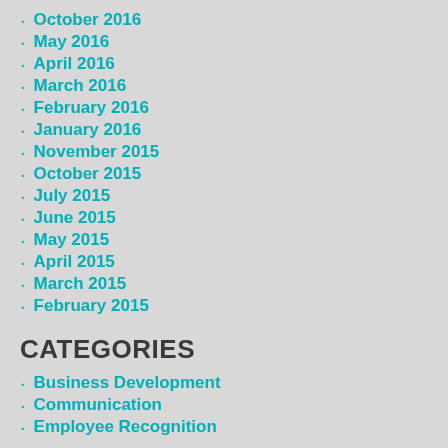October 2016
May 2016
April 2016
March 2016
February 2016
January 2016
November 2015
October 2015
July 2015
June 2015
May 2015
April 2015
March 2015
February 2015
CATEGORIES
Business Development
Communication
Employee Recognition